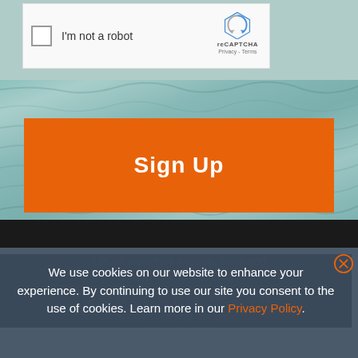[Figure (screenshot): reCAPTCHA checkbox widget with 'I'm not a robot' text and reCAPTCHA logo with Privacy and Terms links]
[Figure (photo): Ocean water surface background image with teal/green tones]
Sign Up
155 W. New York Avenue, Suite 300
Southern Pines, NC 28387
[Figure (logo): Southern Pines watermark logo in faded white text]
We use cookies on our website to enhance your experience. By continuing to use our site you consent to the use of cookies. Learn more in our Privacy Policy.